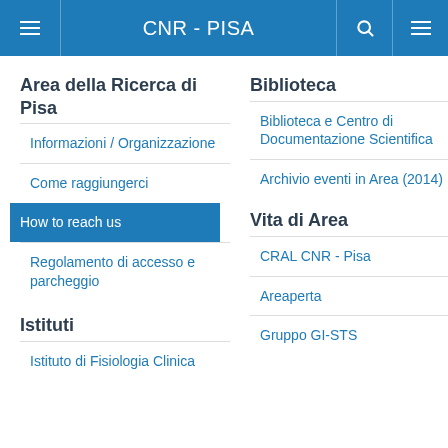CNR - PISA
Area della Ricerca di Pisa
Informazioni / Organizzazione
Come raggiungerci
How to reach us
Regolamento di accesso e parcheggio
Istituti
Istituto di Fisiologia Clinica
Biblioteca
Biblioteca e Centro di Documentazione Scientifica
Archivio eventi in Area (2014)
Vita di Area
CRAL CNR - Pisa
Areaperta
Gruppo GI-STS